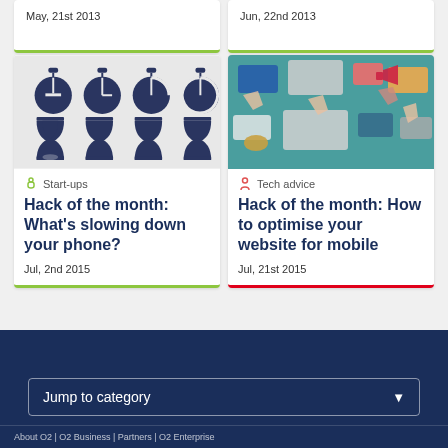May, 21st 2013
Jun, 22nd 2013
[Figure (illustration): Grid of 8 clock/timer icons: 4 stopwatches on top row, 4 hourglasses on bottom row, dark navy on light gray background]
Start-ups
Hack of the month: What's slowing down your phone?
Jul, 2nd 2015
[Figure (photo): Overhead photo of multiple hands holding and using smartphones and tablets on a teal background with various digital icons]
Tech advice
Hack of the month: How to optimise your website for mobile
Jul, 21st 2015
Jump to category
About O2 | O2 Business | Partners | O2 Enterprise